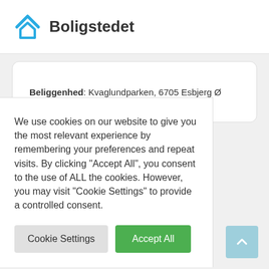[Figure (logo): Boligstedet logo: a blue house outline with upward chevron/arrow above it]
Boligstedet
Beliggenhed: Kvaglundparken, 6705 Esbjerg Ø
We use cookies on our website to give you the most relevant experience by remembering your preferences and repeat visits. By clicking "Accept All", you consent to the use of ALL the cookies. However, you may visit "Cookie Settings" to provide a controlled consent.
Cookie Settings
Accept All